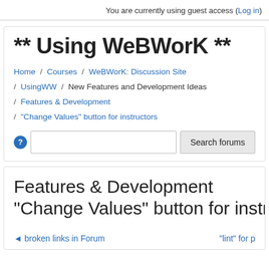You are currently using guest access (Log in)
** Using WeBWorK **
Home / Courses / WeBWorK: Discussion Site / UsingWW / New Features and Development Ideas / Features & Development / "Change Values" button for instructors
Features & Development
"Change Values" button for instructors
◄ broken links in Forum   "lint" for p